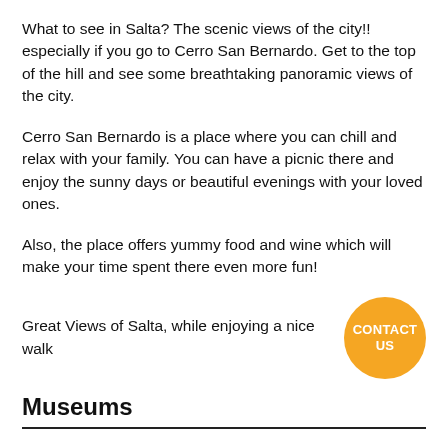What to see in Salta? The scenic views of the city!! especially if you go to Cerro San Bernardo. Get to the top of the hill and see some breathtaking panoramic views of the city.
Cerro San Bernardo is a place where you can chill and relax with your family. You can have a picnic there and enjoy the sunny days or beautiful evenings with your loved ones.
Also, the place offers yummy food and wine which will make your time spent there even more fun!
Great Views of Salta, while enjoying a nice walk
[Figure (other): Orange circular button with text CONTACT US in white bold uppercase letters]
Museums
Salta is known for its remarkable museums, and one of them